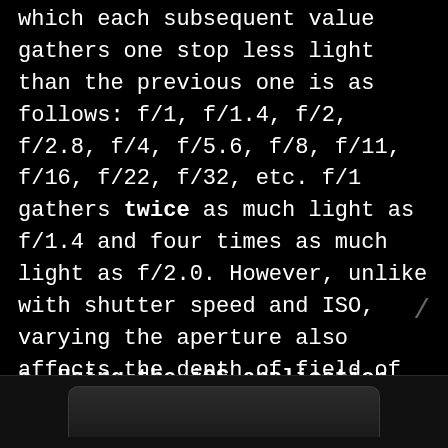which each subsequent value gathers one stop less light than the previous one is as follows: f/1, f/1.4, f/2, f/2.8, f/4, f/5.6, f/8, f/11, f/16, f/22, f/32, etc. f/1 gathers twice as much light as f/1.4 and four times as much light as f/2.0. However, unlike with shutter speed and ISO, varying the aperture also affects the depth of field of the image- the higher the f-number, the greater the depth of field.
e. Using the iOS application
[Figure (photo): Bottom edge of a dark-colored smartphone/iOS device, showing the bottom portion of the device frame against a black background]